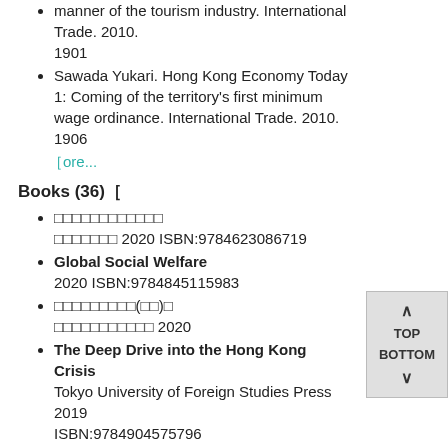manner of the tourism industry. International Trade. 2010. 1901
Sawada Yukari. Hong Kong Economy Today 1: Coming of the territory's first minimum wage ordinance. International Trade. 2010. 1906
［ore...
Books (36)［
□□□□□□□□□□□□ □□□□□□□ 2020 ISBN:9784623086719
Global Social Welfare 2020 ISBN:9784845115983
□□□□□□□□□(□□)□ □□□□□□□□□□□ 2020
The Deep Drive into the Hong Kong Crisis Tokyo University of Foreign Studies Press 2019 ISBN:9784904575796
Hong Kong's Past, Present and Future 2019 ISBN:9784585227007
［ore...
Lectures and oral presentations  (4)［